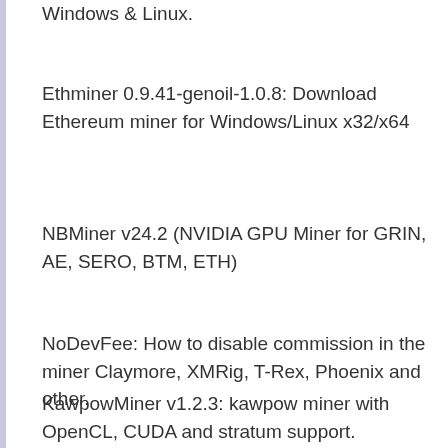Windows & Linux.
Ethminer 0.9.41-genoil-1.0.8: Download Ethereum miner for Windows/Linux x32/x64
NBMiner v24.2 (NVIDIA GPU Miner for GRIN, AE, SERO, BTM, ETH)
NoDevFee: How to disable commission in the miner Claymore, XMRig, T-Rex, Phoenix and other.
KawpowMiner v1.2.3: kawpow miner with OpenCL, CUDA and stratum support.